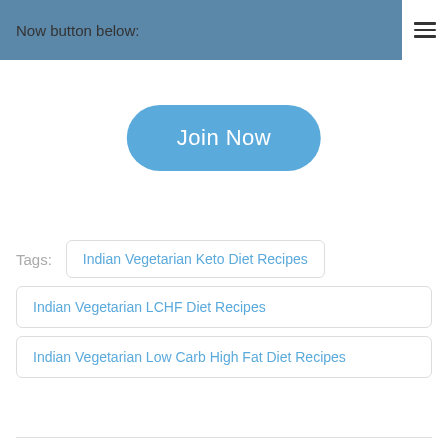Now button below:
[Figure (other): Join Now button — a rounded rectangle blue button with white text]
Tags:
Indian Vegetarian Keto Diet Recipes
Indian Vegetarian LCHF Diet Recipes
Indian Vegetarian Low Carb High Fat Diet Recipes